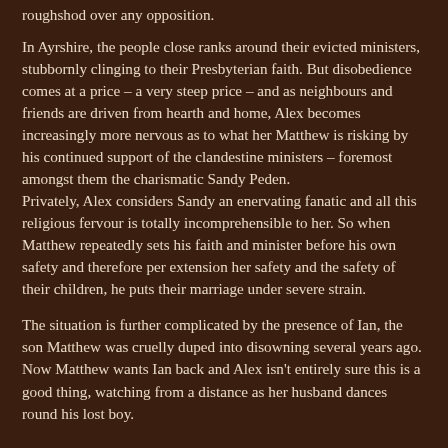roughshod over any opposition.
In Ayrshire, the people close ranks around their evicted ministers, stubbornly clinging to their Presbyterian faith. But disobedience comes at a price – a very steep price – and as neighbours and friends are driven from hearth and home, Alex becomes increasingly more nervous as to what her Matthew is risking by his continued support of the clandestine ministers – foremost amongst them the charismatic Sandy Peden.
Privately, Alex considers Sandy an enervating fanatic and all this religious fervour is totally incomprehensible to her. So when Matthew repeatedly sets his faith and minister before his own safety and therefore per extension her safety and the safety of their children, he puts their marriage under severe strain.
The situation is further complicated by the presence of Ian, the son Matthew was cruelly duped into disowning several years ago. Now Matthew wants Ian back and Alex isn't entirely sure this is a good thing, watching from a distance as her husband dances round his lost boy.